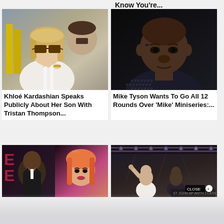Know You're...
[Figure (photo): Photo of Khloé Kardashian wearing large sunglasses and white outfit]
[Figure (photo): Photo of Mike Tyson in dark patterned shirt]
Khloé Kardashian Speaks Publicly About Her Son With Tristan Thompson...
Mike Tyson Wants To Go All 12 Rounds Over 'Mike' Miniseries:...
[Figure (photo): Two people side by side - man in suit and woman with orange/pink hair]
[Figure (photo): Concert scene with stage lighting and performer, CLOSE button visible]